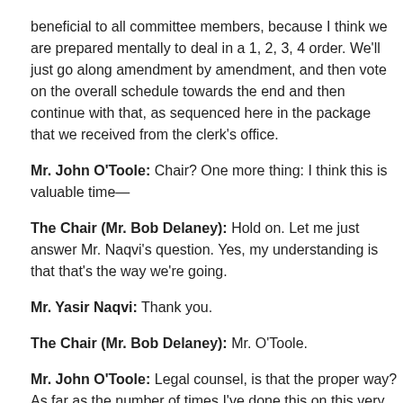beneficial to all committee members, because I think we are prepared mentally to deal in a 1, 2, 3, 4 order. We'll just go along amendment by amendment, and then vote on the overall schedule towards the end and then continue with that, as sequenced here in the package that we received from the clerk's office.
Mr. John O'Toole: Chair? One more thing: I think this is valuable time—
The Chair (Mr. Bob Delaney): Hold on. Let me just answer Mr. Naqvi's question. Yes, my understanding is that that's the way we're going.
Mr. Yasir Naqvi: Thank you.
The Chair (Mr. Bob Delaney): Mr. O'Toole.
Mr. John O'Toole: Legal counsel, is that the proper way? As far as the number of times I've done this on this very committee, they've always dealt with the amendments as